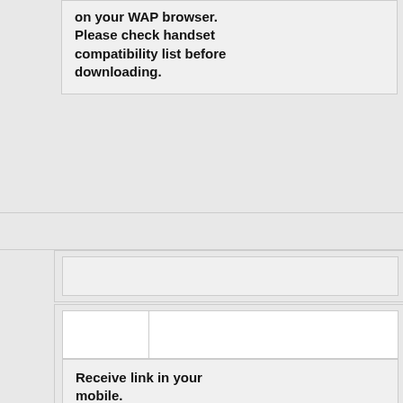on your WAP browser. Please check handset compatibility list before downloading.
Receive link in your mobile.
Enter your 10 digit Mobile number.